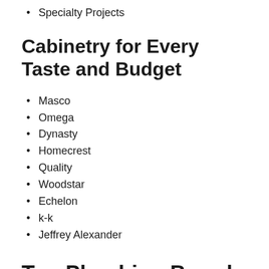Specialty Projects
Cabinetry for Every Taste and Budget
Masco
Omega
Dynasty
Homecrest
Quality
Woodstar
Echelon
k-k
Jeffrey Alexander
Top Plumbing Brands